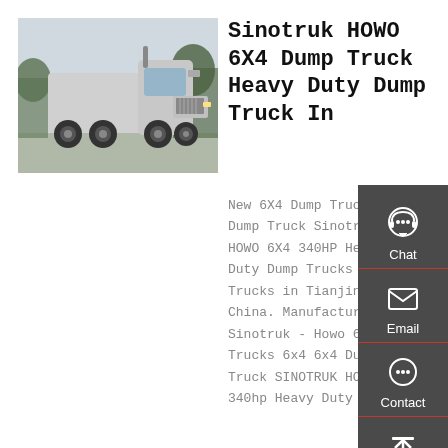[Figure (photo): Silver/white Sinotruk HOWO heavy duty truck parked outdoors with trees in background]
Sinotruk HOWO 6X4 Dump Truck Heavy Duty Dump Truck In
New 6X4 Dump Trucks 6X4 Dump Truck Sinotruk HOWO 6X4 340HP Heavy Duty Dump Trucks Tipper Trucks in Tianjin, China. Manufacturer: Sinotruk - Howo 6x4 Dump Trucks 6x4 6x4 Dump Truck SINOTRUK HOWO 6X4 340hp Heavy Duty Dump